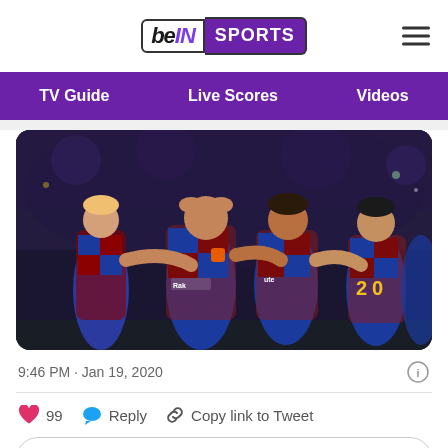[Figure (logo): beIN SPORTS logo in top navigation bar]
TV Guide   Live Scores   Videos
[Figure (photo): FC Barcelona players celebrating in a group hug wearing blue and red checkered jerseys with Rakuten sponsor]
9:46 PM · Jan 19, 2020
99  Reply  Copy link to Tweet
Read 1 reply